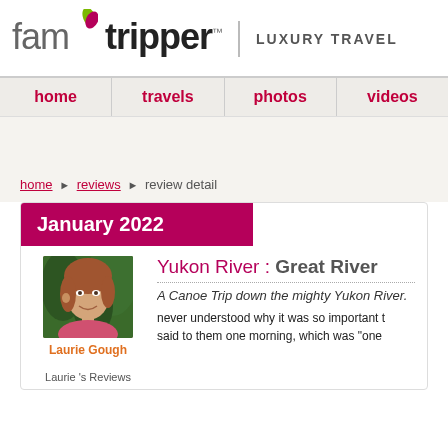[Figure (logo): famtripper logo with two leaves (green and magenta) above the letter i, text reads 'famtripper' with TM symbol, followed by a vertical divider and 'LUXURY TRAVEL' in grey caps]
home | travels | photos | videos
home › reviews › review detail
January 2022
[Figure (photo): Headshot of a smiling woman with auburn hair wearing a pink top, outdoors with green foliage background]
Laurie Gough
Laurie 's Reviews
Yukon River : Great River
A Canoe Trip down the mighty Yukon River.
never understood why it was so important t said to them one morning, which was "one